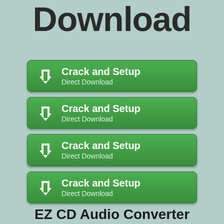Download
[Figure (screenshot): Four green download buttons each labeled 'Crack and Setup' with 'Direct Download' subtitle and a white downward arrow icon]
EZ CD Audio Converter